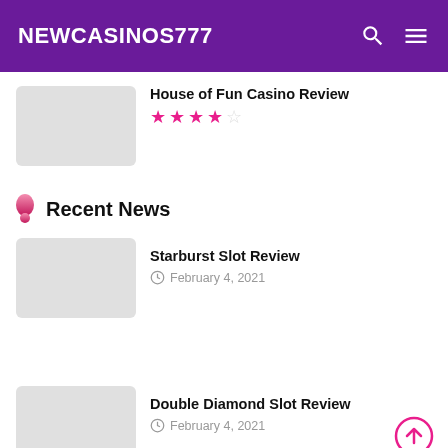NEWCASINOS777
House of Fun Casino Review
4 out of 5 stars
Recent News
Starburst Slot Review
February 4, 2021
Double Diamond Slot Review
February 4, 2021